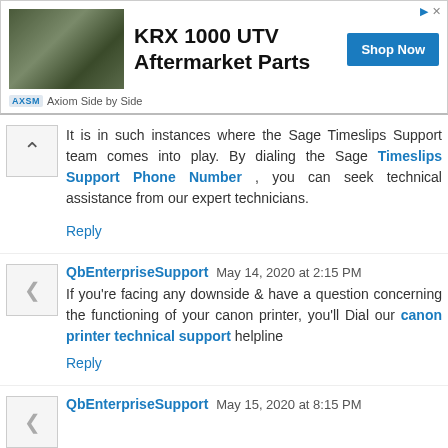[Figure (other): Advertisement banner for KRX 1000 UTV Aftermarket Parts by Axiom Side by Side, with a photo of an ATV/UTV, bold headline text, and a blue 'Shop Now' button.]
It is in such instances where the Sage Timeslips Support team comes into play. By dialing the Sage Timeslips Support Phone Number , you can seek technical assistance from our expert technicians.
Reply
QbEnterpriseSupport May 14, 2020 at 2:15 PM
If you're facing any downside & have a question concerning the functioning of your canon printer, you'll Dial our canon printer technical support helpline
Reply
QbEnterpriseSupport May 15, 2020 at 8:15 PM